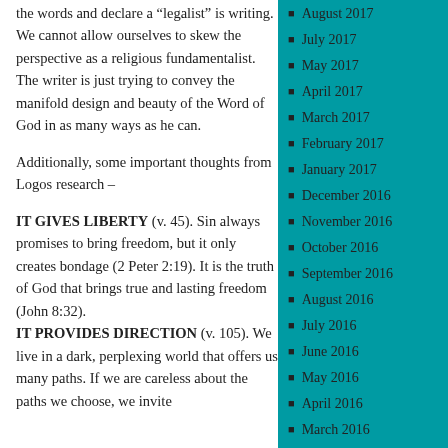the words and declare a “legalist” is writing. We cannot allow ourselves to skew the perspective as a religious fundamentalist. The writer is just trying to convey the manifold design and beauty of the Word of God in as many ways as he can.
Additionally, some important thoughts from Logos research –
IT GIVES LIBERTY (v. 45). Sin always promises to bring freedom, but it only creates bondage (2 Peter 2:19). It is the truth of God that brings true and lasting freedom (John 8:32). IT PROVIDES DIRECTION (v. 105). We live in a dark, perplexing world that offers us many paths. If we are careless about the paths we choose, we invite...
August 2017
July 2017
May 2017
April 2017
March 2017
February 2017
January 2017
December 2016
November 2016
October 2016
September 2016
August 2016
July 2016
June 2016
May 2016
April 2016
March 2016
February 2016
January 2016